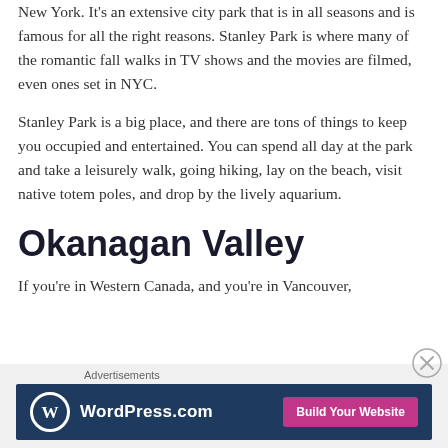New York. It's an extensive city park that is in all seasons and is famous for all the right reasons. Stanley Park is where many of the romantic fall walks in TV shows and the movies are filmed, even ones set in NYC.
Stanley Park is a big place, and there are tons of things to keep you occupied and entertained. You can spend all day at the park and take a leisurely walk, going hiking, lay on the beach, visit native totem poles, and drop by the lively aquarium.
Okanagan Valley
If you're in Western Canada, and you're in Vancouver
[Figure (other): WordPress.com advertisement banner with logo on dark blue background and 'Build Your Website' pink button]